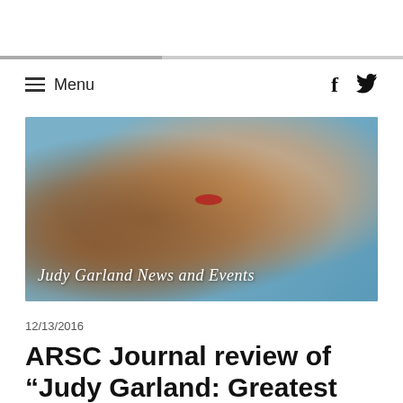Menu
[Figure (photo): Banner photo of Judy Garland, a woman with curly reddish-brown hair and red lips, looking toward the camera. Text overlay reads 'Judy Garland News and Events' in white italic script.]
12/13/2016
ARSC Journal review of “Judy Garland: Greatest Hits Live” by Lawrence Schulman